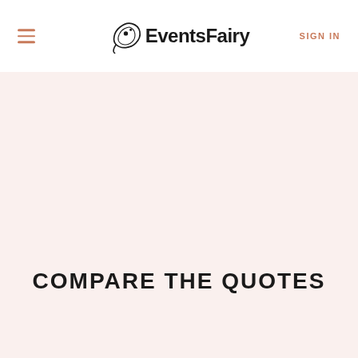EventsFairy — SIGN IN
COMPARE THE QUOTES